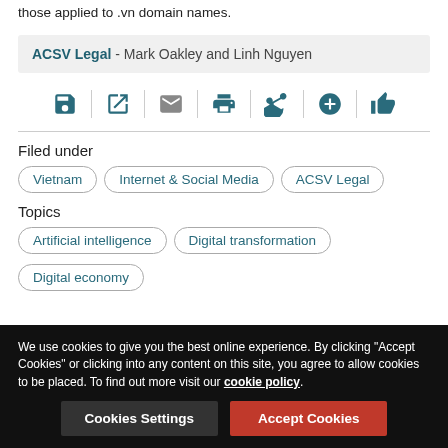those applied to .vn domain names.
ACSV Legal - Mark Oakley and Linh Nguyen
[Figure (infographic): Row of action icons: save, open/external link, email, print, share, add, thumbs up — separated by vertical dividers]
Filed under
Vietnam
Internet & Social Media
ACSV Legal
Topics
Artificial intelligence
Digital transformation
Digital economy
We use cookies to give you the best online experience. By clicking "Accept Cookies" or clicking into any content on this site, you agree to allow cookies to be placed. To find out more visit our cookie policy.